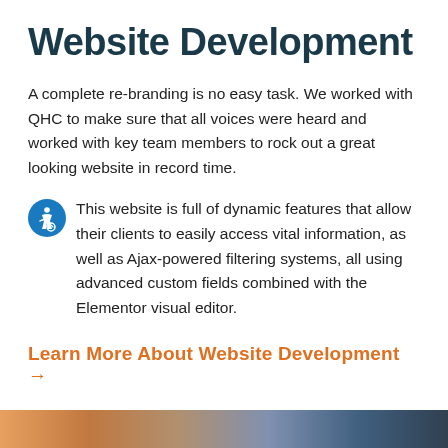Website Development
A complete re-branding is no easy task. We worked with QHC to make sure that all voices were heard and worked with key team members to rock out a great looking website in record time.
This website is full of dynamic features that allow their clients to easily access vital information, as well as Ajax-powered filtering systems, all using advanced custom fields combined with the Elementor visual editor.
Learn More About Website Development →
[Figure (photo): Bottom image strip showing people, partially visible at bottom of page]